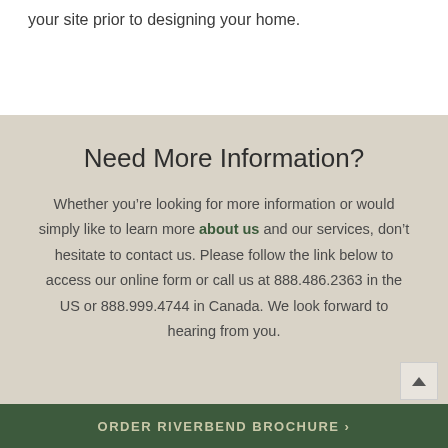your site prior to designing your home.
Need More Information?
Whether you’re looking for more information or would simply like to learn more about us and our services, don’t hesitate to contact us. Please follow the link below to access our online form or call us at 888.486.2363 in the US or 888.999.4744 in Canada. We look forward to hearing from you.
ORDER RIVERBEND BROCHURE ›